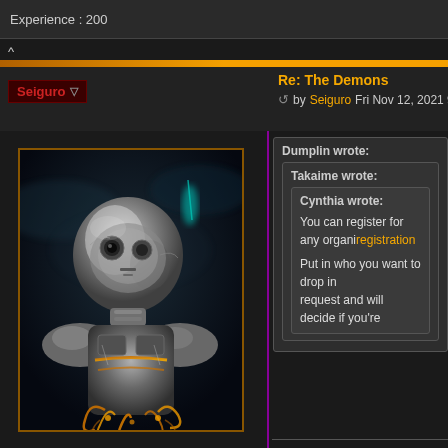Experience : 200
^
Re: The Demons
by Seiguro Fri Nov 12, 2021 9:22 am
[Figure (illustration): A sci-fi robot/alien creature avatar with metallic silver and gold/orange color scheme against a dark smoky background]
Dumplin wrote:
Takaime wrote:
Cynthia wrote:
You can register for any organi... registration
Put in who you want to drop in... request and will decide if you're...